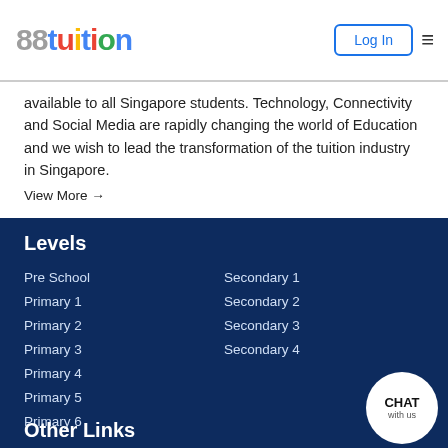88tuition | Log In
available to all Singapore students. Technology, Connectivity and Social Media are rapidly changing the world of Education and we wish to lead the transformation of the tuition industry in Singapore.
View More →
Levels
Pre School
Primary 1
Primary 2
Primary 3
Primary 4
Primary 5
Primary 6
Secondary 1
Secondary 2
Secondary 3
Secondary 4
Other Links